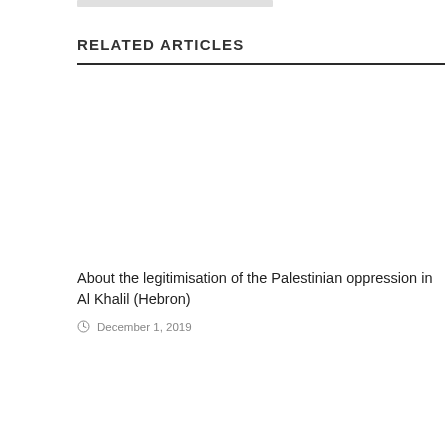RELATED ARTICLES
About the legitimisation of the Palestinian oppression in Al Khalil (Hebron)
December 1, 2019